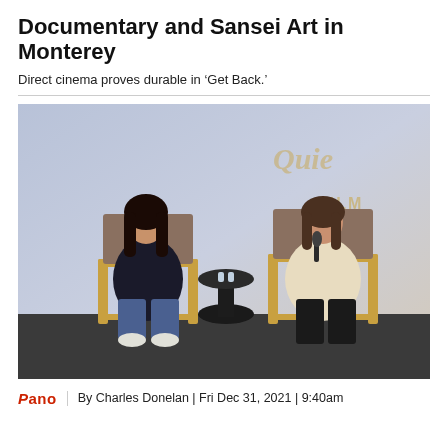Documentary and Sansei Art in Monterey
Direct cinema proves durable in ‘Get Back.’
[Figure (photo): Two women seated in director's chairs on a stage at a film festival event, with a banner reading 'FILM FEST' in the background. The woman on the left has long dark hair and is wearing a dark jacket. The woman on the right holds a microphone and wears a light sweater. A small round table sits between them.]
Pano  By Charles Donelan | Fri Dec 31, 2021 | 9:40am